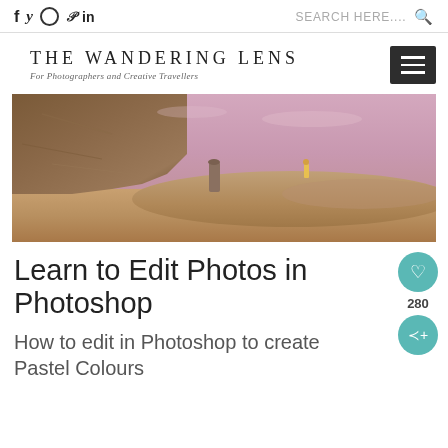f y ☉ p in  SEARCH HERE....
THE WANDERING LENS
For Photographers and Creative Travellers
[Figure (photo): Wide panoramic landscape photo showing rocky desert terrain with pink-purple sky, a small figure standing on a sandy hill in the distance, and rocky outcrops on the left side.]
Learn to Edit Photos in Photoshop
How to edit in Photoshop to create Pastel Colours